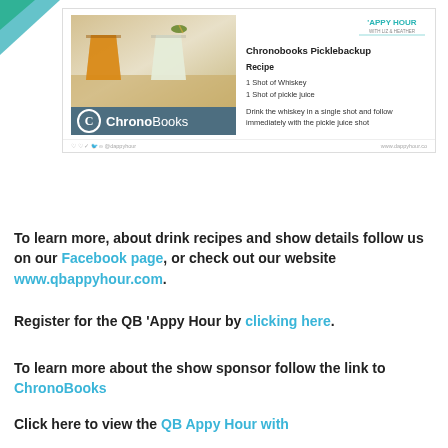[Figure (illustration): Decorative teal/green triangles in top-left corner]
[Figure (screenshot): Social media card showing Chronobooks Picklebackup recipe with photo of two shot glasses, ChronoBooks logo bar, recipe text listing 1 Shot of Whiskey, 1 Shot of pickle juice, and instructions to drink the whiskey in a single shot and follow immediately with the pickle juice shot]
To learn more, about drink recipes and show details follow us on our Facebook page, or check out our website www.qbappyhour.com.
Register for the QB 'Appy Hour by clicking here.
To learn more about the show sponsor follow the link to ChronoBooks
Click here to view the QB Appy Hour with